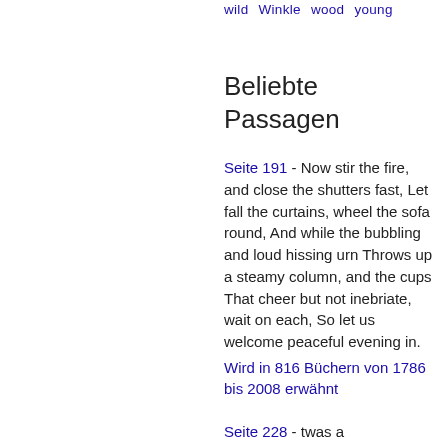wild   Winkle   wood   young
Beliebte Passagen
Seite 191 - Now stir the fire, and close the shutters fast, Let fall the curtains, wheel the sofa round, And while the bubbling and loud hissing urn Throws up a steamy column, and the cups That cheer but not inebriate, wait on each, So let us welcome peaceful evening in.
Wird in 816 Büchern von 1786 bis 2008 erwähnt
Seite 228 - twas a